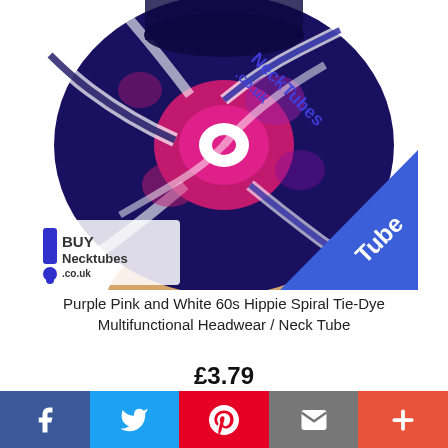[Figure (photo): Purple Pink and White tie-dye spiral pattern neck tube headwear on a mannequin, with BuyNecktubes.co.uk branding and a blue 'Tube' badge in the corner]
Purple Pink and White 60s Hippie Spiral Tie-Dye Multifunctional Headwear / Neck Tube
£3.79
Add to Cart